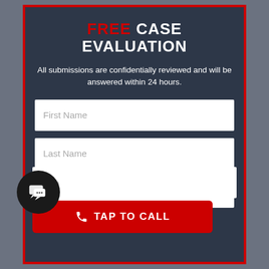FREE CASE EVALUATION
All submissions are confidentially reviewed and will be answered within 24 hours.
First Name
Last Name
Phone
Email
[Figure (other): Chat bubble button with speech bubble icons overlay in bottom left corner]
TAP TO CALL